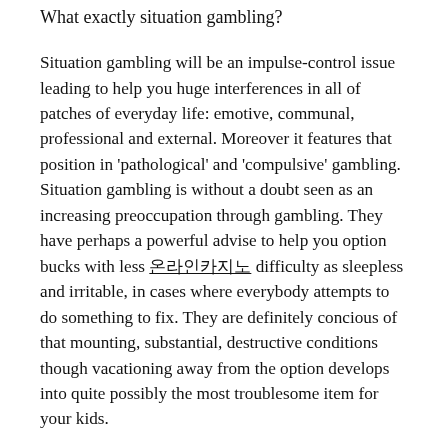What exactly situation gambling?
Situation gambling will be an impulse-control issue leading to help you huge interferences in all of patches of everyday life: emotive, communal, professional and external. Moreover it features that position in 'pathological' and 'compulsive' gambling. Situation gambling is without a doubt seen as an increasing preoccupation through gambling. They have perhaps a powerful advise to help you option bucks with less 온라인카지노 difficulty as sleepless and irritable, in cases where everybody attempts to do something to fix. They are definitely concious of that mounting, substantial, destructive conditions though vacationing away from the option develops into quite possibly the most troublesome item for your kids.
Web based situation gambling is known as a current